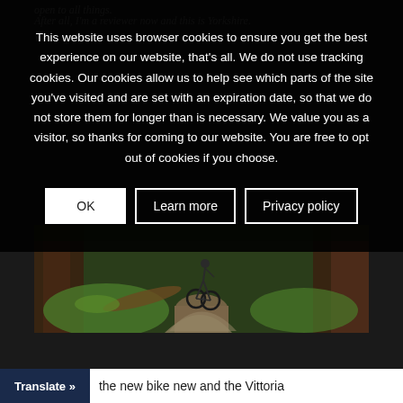open to all things.
After all, I'm a reviewer now and this is Yorkshire. We're open to new ideas.
[Figure (photo): Mountain biker riding on a narrow forest trail through green woodland with moss-covered rocks and fallen trees]
This website uses browser cookies to ensure you get the best experience on our website, that's all. We do not use tracking cookies. Our cookies allow us to help see which parts of the site you've visited and are set with an expiration date, so that we do not store them for longer than is necessary. We value you as a visitor, so thanks for coming to our website. You are free to opt out of cookies if you choose.
OK
Learn more
Privacy policy
Translate » the new bike new and the Vittoria